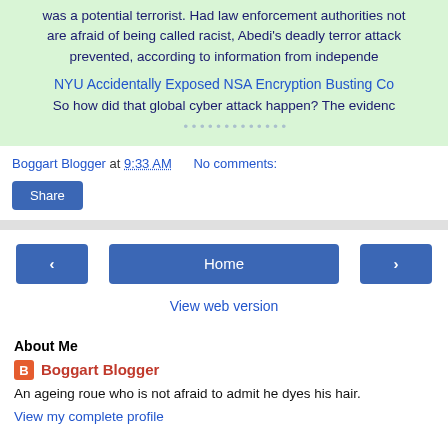was a potential terrorist. Had law enforcement authorities not are afraid of being called racist, Abedi's deadly terror attack prevented, according to information from independer
NYU Accidentally Exposed NSA Encryption Busting Co So how did that global cyber attack happen? The evidenc
Boggart Blogger at 9:33 AM   No comments:
Share
[Figure (screenshot): Navigation buttons: left arrow, Home, right arrow]
View web version
About Me
Boggart Blogger
An ageing roue who is not afraid to admit he dyes his hair.
View my complete profile